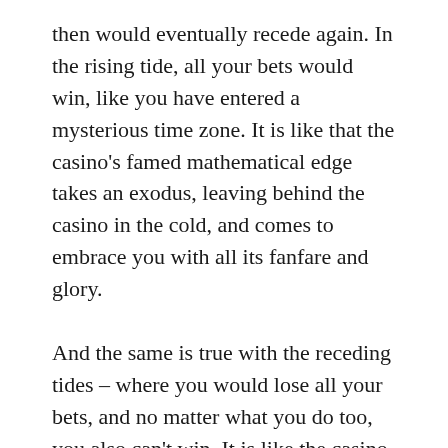then would eventually recede again. In the rising tide, all your bets would win, like you have entered a mysterious time zone. It is like that the casino's famed mathematical edge takes an exodus, leaving behind the casino in the cold, and comes to embrace you with all its fanfare and glory.
And the same is true with the receding tides – where you would lose all your bets, and no matter what you do too, you also can't win. It is like the casino suddenly possesses an extraordinary power to fleece you way beyond its allowable mathematical edge.
And although the tides in gambling are not as